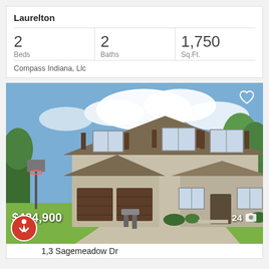Laurelton
| Beds | Baths | Sq.Ft. |
| --- | --- | --- |
| 2 | 2 | 1,750 |
Compass Indiana, Llc
[Figure (photo): Two-story beige suburban house with brown garage doors, basketball hoop in yard, green lawn, blue sky with clouds]
$424,900
24
1,3 Sagemeadow Dr